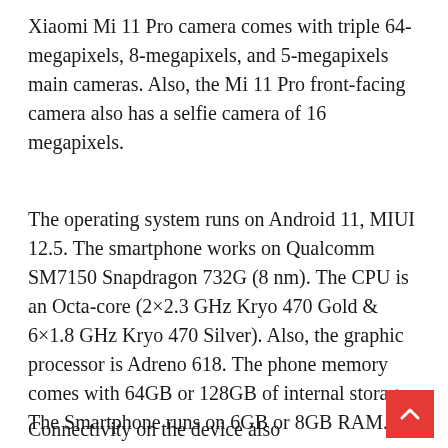Xiaomi Mi 11 Pro camera comes with triple 64-megapixels, 8-megapixels, and 5-megapixels main cameras. Also, the Mi 11 Pro front-facing camera also has a selfie camera of 16 megapixels.
The operating system runs on Android 11, MIUI 12.5. The smartphone works on Qualcomm SM7150 Snapdragon 732G (8 nm). The CPU is an Octa-core (2×2.3 GHz Kryo 470 Gold & 6×1.8 GHz Kryo 470 Silver). Also, the graphic processor is Adreno 618. The phone memory comes with 64GB or 128GB of internal storage. The Smartphone runs on 6GB or 8GB RAM.
Connectivity on the device also